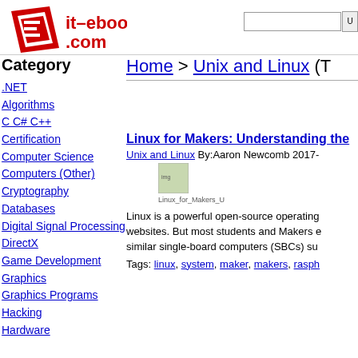[Figure (logo): it-ebooks.com logo: red stylized E in a box with red text 'it-ebooks.com']
Category
.NET
Algorithms
C C# C++
Certification
Computer Science
Computers (Other)
Cryptography
Databases
Digital Signal Processing
DirectX
Game Development
Graphics
Graphics Programs
Hacking
Hardware
Home > Unix and Linux (T
Linux for Makers: Understanding the
Unix and Linux By:Aaron Newcomb 2017-
[Figure (photo): Thumbnail image of Linux for Makers book cover]
Linux is a powerful open-source operating system used to run smartphones, servers, and websites. But most students and Makers encounter Linux for the first time on a Raspberry Pi or similar single-board computers (SBCs) su
Tags: linux, system, maker, makers, rasph